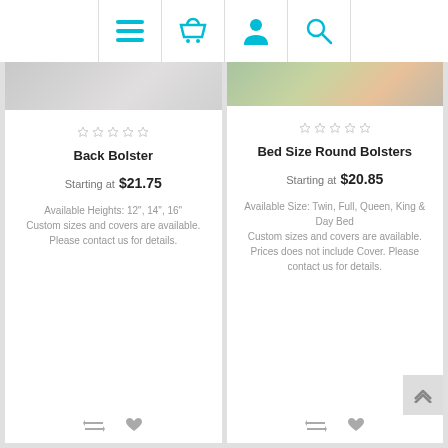[Figure (screenshot): Navigation bar with hamburger menu, shopping basket, user profile, and search icons in cyan/teal color]
[Figure (photo): Partial product image for Back Bolster - grey/white pillow]
Back Bolster
Starting at $21.75
Available Heights: 12", 14", 16" Custom sizes and covers are available. Please contact us for details.
[Figure (photo): Partial product image for Bed Size Round Bolsters - colorful floral fabric]
Bed Size Round Bolsters
Starting at $20.85
Available Size: Twin, Full, Queen, King & Day Bed Custom sizes and covers are available. Prices does not include Cover. Please contact us for details.